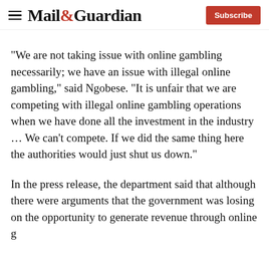Mail&Guardian | Subscribe
“We are not taking issue with online gambling necessarily; we have an issue with illegal online gambling,” said Ngobese. “It is unfair that we are competing with illegal online gambling operations when we have done all the investment in the industry … We can’t compete. If we did the same thing here the authorities would just shut us down.”
In the press release, the department said that although there were arguments that the government was losing on the opportunity to generate revenue through online g